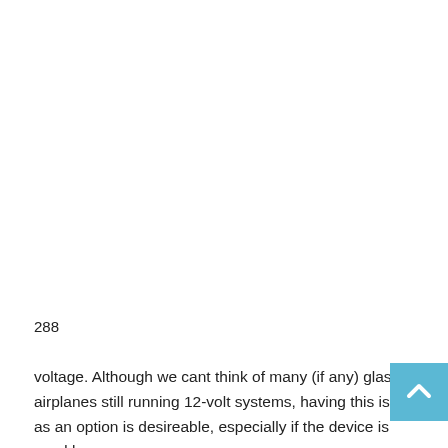288
voltage. Although we cant think of many (if any) glass airplanes still running 12-volt systems, having this is as an option is desireable, especially if the device is used by an